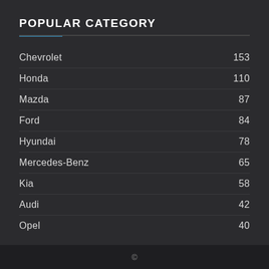POPULAR CATEGORY
Chevrolet  153
Honda  110
Mazda  87
Ford  84
Hyundai  78
Mercedes-Benz  65
Kia  58
Audi  42
Opel  40
©